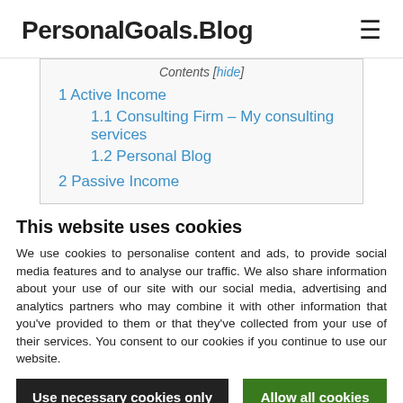PersonalGoals.Blog
Contents [hide]
1 Active Income
1.1 Consulting Firm – My consulting services
1.2 Personal Blog
2 Passive Income
This website uses cookies
We use cookies to personalise content and ads, to provide social media features and to analyse our traffic. We also share information about your use of our site with our social media, advertising and analytics partners who may combine it with other information that you've provided to them or that they've collected from your use of their services. You consent to our cookies if you continue to use our website.
Use necessary cookies only | Allow all cookies
Show details